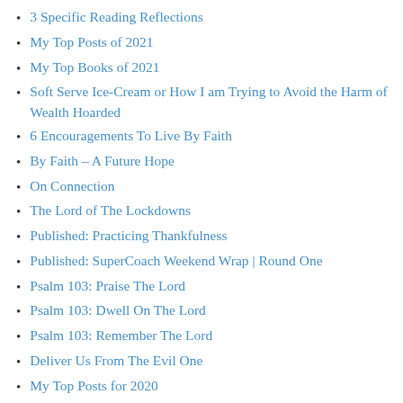3 Specific Reading Reflections
My Top Posts of 2021
My Top Books of 2021
Soft Serve Ice-Cream or How I am Trying to Avoid the Harm of Wealth Hoarded
6 Encouragements To Live By Faith
By Faith – A Future Hope
On Connection
The Lord of The Lockdowns
Published: Practicing Thankfulness
Published: SuperCoach Weekend Wrap | Round One
Psalm 103: Praise The Lord
Psalm 103: Dwell On The Lord
Psalm 103: Remember The Lord
Deliver Us From The Evil One
My Top Posts for 2020